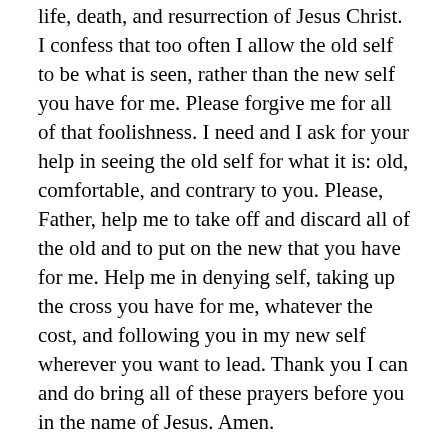life, death, and resurrection of Jesus Christ.  I confess that too often I allow the old self to be what is seen, rather than the new self you have for me.  Please forgive me for all of that foolishness.  I need and I ask for your help in seeing the old self for what it is:  old, comfortable, and contrary to you.  Please, Father, help me to take off and discard all of the old and to put on the new that you have for me.  Help me in denying self, taking up the cross you have for me, whatever the cost, and following you in my new self wherever you want to lead.  Thank you I can and do bring all of these prayers before you in the name of Jesus.  Amen.
Think on this:  Does your wardrobe of self consist of any ugly sweaters that should be thrown away?  What would it look like to do that?  How about putting on the new self that God has for you, the one that looks just like Jesus?  How's that fit?  Does